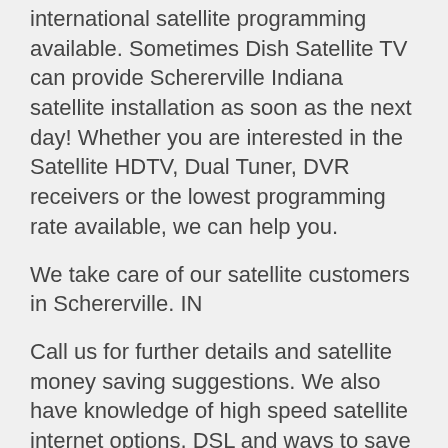international satellite programming available. Sometimes Dish Satellite TV can provide Schererville Indiana satellite installation as soon as the next day! Whether you are interested in the Satellite HDTV, Dual Tuner, DVR receivers or the lowest programming rate available, we can help you.
We take care of our satellite customers in Schererville. IN
Call us for further details and satellite money saving suggestions. We also have knowledge of high speed satellite internet options, DSL and ways to save money with your phone service. We can explain all package options for our Schererville customers and set up auto payments for you.
Whether you are thinking of switching from Comcast, cable, Mediacom or DirecTV we can help you make an educated decision on your satellite choice.